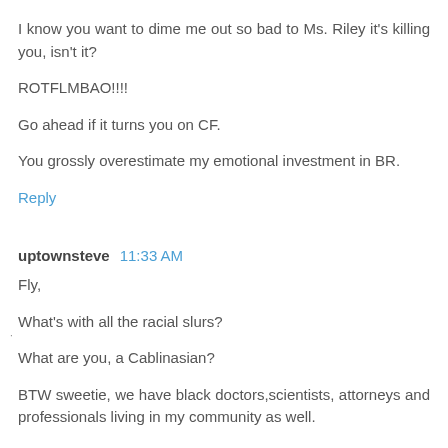I know you want to dime me out so bad to Ms. Riley it's killing you, isn't it?
ROTFLMBAO!!!!
Go ahead if it turns you on CF.
You grossly overestimate my emotional investment in BR.
Reply
uptownsteve  11:33 AM
Fly,
What's with all the racial slurs?
What are you, a Cablinasian?
BTW sweetie, we have black doctors,scientists, attorneys and professionals living in my community as well.